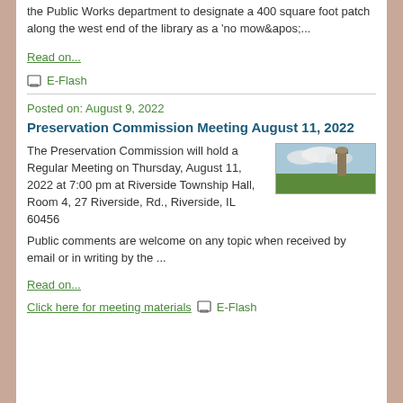the Public Works department to designate a 400 square foot patch along the west end of the library as a 'no mow&apos;...
Read on...
E-Flash
Posted on: August 9, 2022
Preservation Commission Meeting August 11, 2022
The Preservation Commission will hold a Regular Meeting on Thursday, August 11, 2022 at 7:00 pm at Riverside Township Hall, Room 4, 27 Riverside, Rd., Riverside, IL 60456
Public comments are welcome on any topic when received by email or in writing by the ...
Read on...
Click here for meeting materials
E-Flash